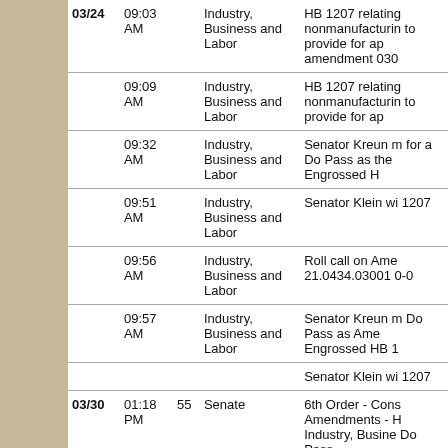| Date | Time | Num | Committee | Description |
| --- | --- | --- | --- | --- |
| 03/24 | 09:03 AM |  | Industry, Business and Labor | HB 1207 relating nonmanufacturing to provide for ap amendment 030 |
|  | 09:09 AM |  | Industry, Business and Labor | HB 1207 relating nonmanufacturing to provide for ap |
|  | 09:32 AM |  | Industry, Business and Labor | Senator Kreun m for a Do Pass as the Engrossed H |
|  | 09:51 AM |  | Industry, Business and Labor | Senator Klein wi 1207 |
|  | 09:56 AM |  | Industry, Business and Labor | Roll call on Ame 21.0434.03001 0-0 |
|  | 09:57 AM |  | Industry, Business and Labor | Senator Kreun m Do Pass as Ame Engrossed HB 1 |
|  |  |  |  | Senator Klein wi 1207 |
| 03/30 | 01:18 PM | 55 | Senate | 6th Order - Cons Amendments - H Industry, Busine Do Pass |